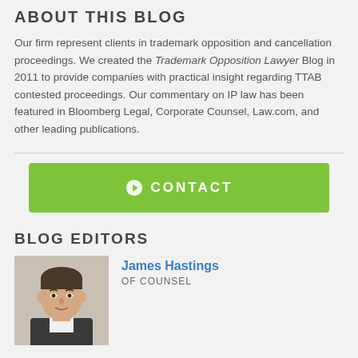ABOUT THIS BLOG
Our firm represent clients in trademark opposition and cancellation proceedings. We created the Trademark Opposition Lawyer Blog in 2011 to provide companies with practical insight regarding TTAB contested proceedings. Our commentary on IP law has been featured in Bloomberg Legal, Corporate Counsel, Law.com, and other leading publications.
[Figure (other): Green contact button with right-arrow circle icon and text CONTACT]
BLOG EDITORS
[Figure (photo): Headshot photo of James Hastings, a man with dark hair]
James Hastings
OF COUNSEL